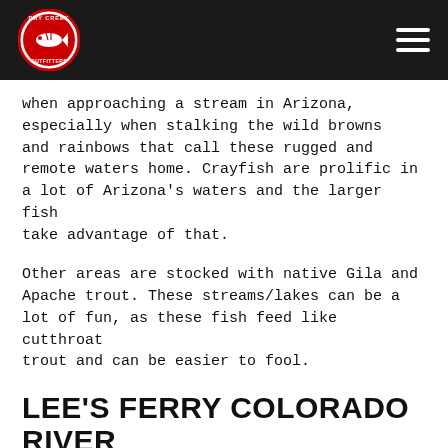[Figure (logo): Dry Creek Outfitters circular logo with a fish in the center, red and white, on a black header bar]
when approaching a stream in Arizona, especially when stalking the wild browns and rainbows that call these rugged and remote waters home. Crayfish are prolific in a lot of Arizona's waters and the larger fish take advantage of that.
Other areas are stocked with native Gila and Apache trout. These streams/lakes can be a lot of fun, as these fish feed like cutthroat trout and can be easier to fool.
LEE'S FERRY COLORADO RIVER
A world class fly fishing experience in one of the most